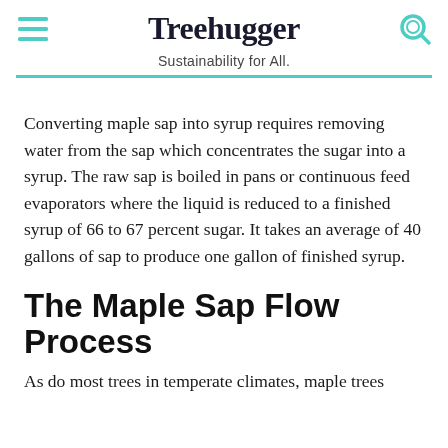Treehugger — Sustainability for All.
Converting maple sap into syrup requires removing water from the sap which concentrates the sugar into a syrup. The raw sap is boiled in pans or continuous feed evaporators where the liquid is reduced to a finished syrup of 66 to 67 percent sugar. It takes an average of 40 gallons of sap to produce one gallon of finished syrup.
The Maple Sap Flow Process
As do most trees in temperate climates, maple trees